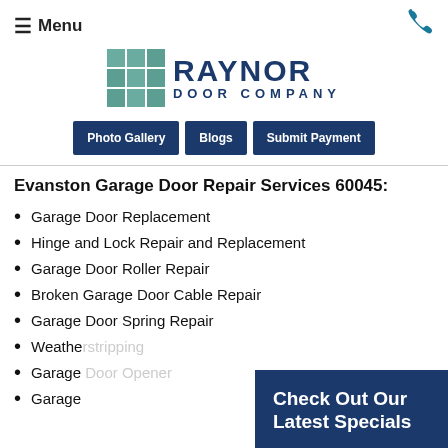≡ Menu
[Figure (logo): Raynor Door Company logo with teal grid icon and dark navy text]
[Figure (other): Navigation buttons: Photo Gallery, Blogs, Submit Payment]
Evanston Garage Door Repair Services 60045:
Garage Door Replacement
Hinge and Lock Repair and Replacement
Garage Door Roller Repair
Broken Garage Door Cable Repair
Garage Door Spring Repair
Weathe[rstripping]
Garage [Door Opener]
Garage [...]
Check Out Our Latest Specials